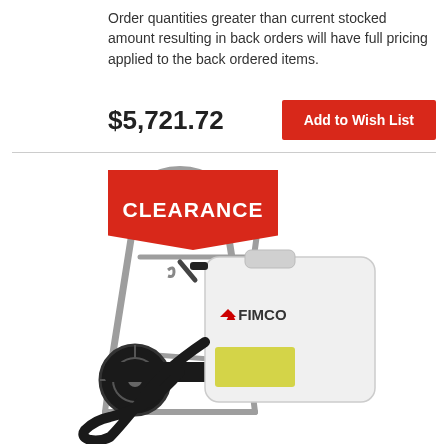Order quantities greater than current stocked amount resulting in back orders will have full pricing applied to the back ordered items.
$5,721.72
Add to Wish List
[Figure (photo): FIMCO wheeled sprayer with a white tank, gray metal cart frame, black hose, and a CLEARANCE badge overlaid in the top-left corner.]